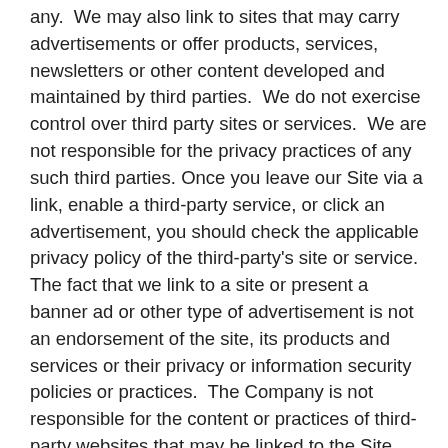any.  We may also link to sites that may carry advertisements or offer products, services, newsletters or other content developed and maintained by third parties.  We do not exercise control over third party sites or services.  We are not responsible for the privacy practices of any such third parties. Once you leave our Site via a link, enable a third-party service, or click an advertisement, you should check the applicable privacy policy of the third-party's site or service.  The fact that we link to a site or present a banner ad or other type of advertisement is not an endorsement of the site, its products and services or their privacy or information security policies or practices.  The Company is not responsible for the content or practices of third-party websites that may be linked to the Site.  The Company is also not responsible for any information that you might share with such linked websites.  You should refer to each website's respective privacy policy and practices prior to disclosing any information.